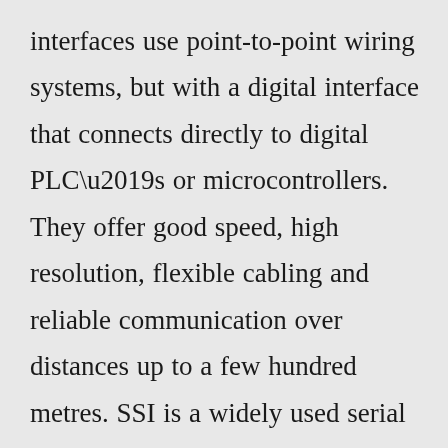interfaces use point-to-point wiring systems, but with a digital interface that connects directly to digital PLC’s or microcontrollers. They offer good speed, high resolution, flexible cabling and reliable communication over distances up to a few hundred metres. SSI is a widely used serial interface with ... For pulse output from a motor --- is usually developed by an encoder attached to the motor shaft. There